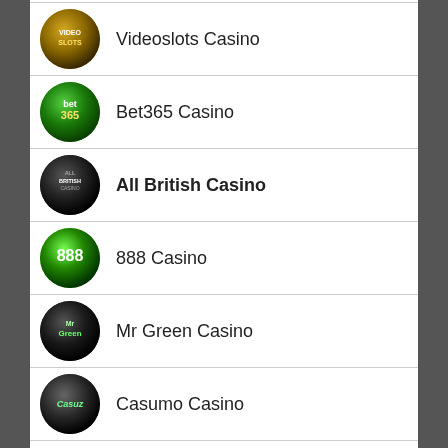Videoslots Casino
Bet365 Casino
All British Casino
888 Casino
Mr Green Casino
Casumo Casino
SEARCH 4000+ SLOTS...